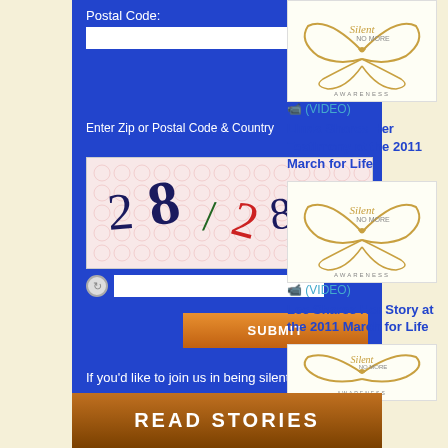Postal Code:
Enter Zip or Postal Code & Country
[Figure (other): CAPTCHA image with distorted numbers 28/28& on patterned background]
(VIDEO) Linda Shares Her Testimony at the 2011 March for Life
[Figure (illustration): Silent No More Awareness butterfly logo]
(VIDEO) Lee Shares Her Story at the 2011 March for Life
[Figure (illustration): Silent No More Awareness butterfly logo]
If you'd like to join us in being silent no more and receive our monthly e-letter click here to fill out the Silent No More Campaign Registration Form
[Figure (photo): READ STORIES banner image]
[Figure (illustration): Silent No More Awareness butterfly logo (partial, bottom)]